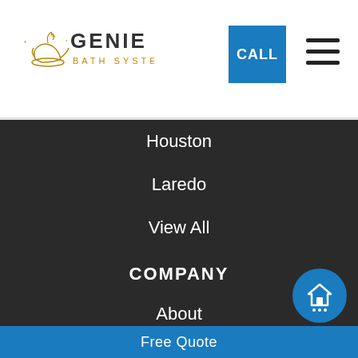[Figure (logo): Genie Bath Systems logo with lamp icon and orange/gold text]
CALL
[Figure (other): Hamburger menu icon with three horizontal bars]
Houston
Laredo
View All
COMPANY
About
Blog
Offers
Reviews
Free Quote
[Figure (other): Blue circular chat/home icon button in bottom right corner]